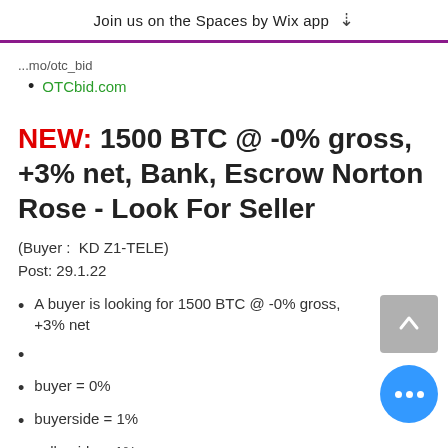Join us on the Spaces by Wix app
...mo/otc_bid
OTCbid.com
NEW: 1500 BTC @ -0% gross, +3% net, Bank, Escrow Norton Rose - Look For Seller
(Buyer :  KD Z1-TELE)
Post: 29.1.22
A buyer is looking for 1500 BTC @ -0% gross, +3% net
buyer = 0%
buyerside = 1%
sellerside = 1%